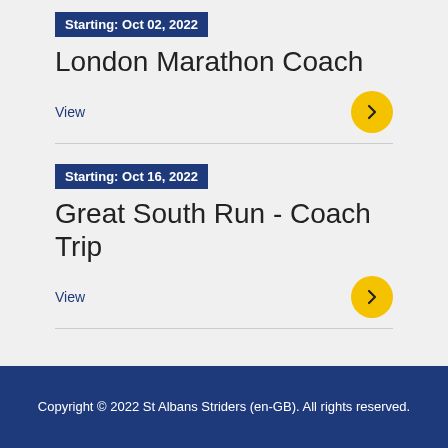Starting: Oct 02, 2022
London Marathon Coach
View
Starting: Oct 16, 2022
Great South Run - Coach Trip
View
Copyright © 2022 St Albans Striders (en-GB). All rights reserved.